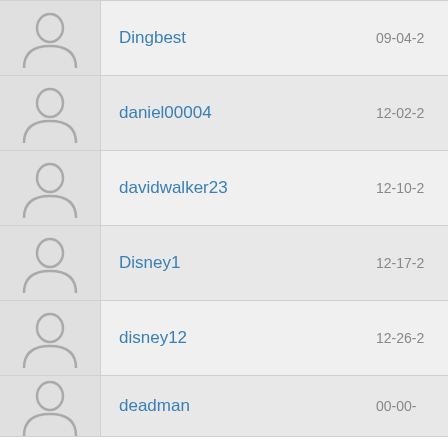Dingbest — 09-04-2...
daniel00004 — 12-02-2...
davidwalker23 — 12-10-2...
Disney1 — 12-17-2...
disney12 — 12-26-2...
deadman — 00-00-...